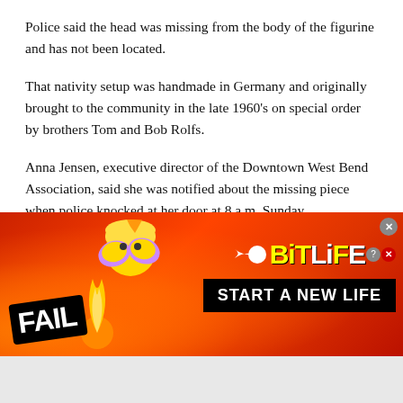Police said the head was missing from the body of the figurine and has not been located.
That nativity setup was handmade in Germany and originally brought to the community in the late 1960’s on special order by brothers Tom and Bob Rolfs.
Anna Jensen, executive director of the Downtown West Bend Association, said she was notified about the missing piece when police knocked at her door at 8 a.m. Sunday.
“That piece was wired to the crib because of concerns it may go missing,” said Jensen. “We didn’t think it would go missing or be
[Figure (screenshot): BitLife advertisement banner with red/orange background, 'FAIL' text badge, cartoon emoji figure covering face, flames, sperm icon, 'BiTLiFE' logo in yellow/white, and 'START A NEW LIFE' black bar.]